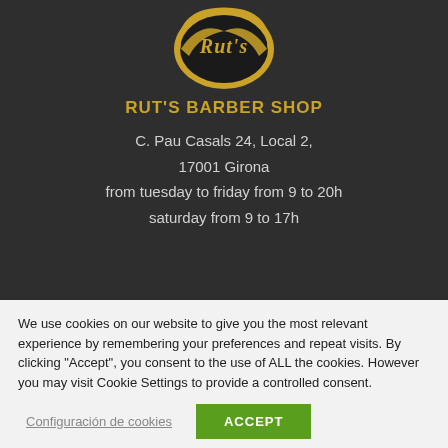[Figure (logo): Rut's Barber Shop circular logo with gold and black design, showing stylized text 'Rut's' on a dark background with gold border]
RUT'S BARBER SHOP
C. Pau Casals 24, Local 2,
17001 Girona
from tuesday to friday from 9 to 20h
saturday from 9 to 17h
We use cookies on our website to give you the most relevant experience by remembering your preferences and repeat visits. By clicking "Accept", you consent to the use of ALL the cookies. However you may visit Cookie Settings to provide a controlled consent.
Configuración de cookies
ACCEPT